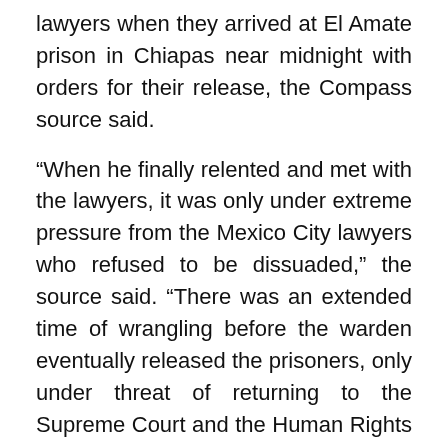lawyers when they arrived at El Amate prison in Chiapas near midnight with orders for their release, the Compass source said.
“When he finally relented and met with the lawyers, it was only under extreme pressure from the Mexico City lawyers who refused to be dissuaded,” the source said. “There was an extended time of wrangling before the warden eventually released the prisoners, only under threat of returning to the Supreme Court and the Human Rights Commission about his intransigence.”
The released men had been promised there would be a government-paid bus waiting to take them to San Cristobal de las Casas, he said, but instead they were taken to the hotel in Berriozabal.